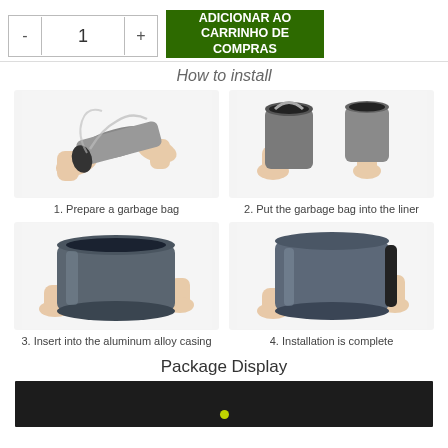[Figure (screenshot): E-commerce quantity selector with minus button, input field showing '1', plus button, and green 'ADICIONAR AO CARRINHO DE COMPRAS' button]
How to install
[Figure (illustration): Step 1 - Hands holding and preparing a garbage bag with a cylindrical liner]
1. Prepare a garbage bag
[Figure (illustration): Step 2 - Hands putting a garbage bag into the liner, two cylindrical pieces shown]
2. Put the garbage bag into the liner
[Figure (illustration): Step 3 - Hands inserting liner into an aluminum alloy casing (cylindrical metal tube)]
3. Insert into the aluminum alloy casing
[Figure (illustration): Step 4 - Hands holding completed assembled cylindrical trash can, installation complete]
4. Installation is complete
Package Display
[Figure (photo): Dark background package display photo with a small yellow-green dot visible]